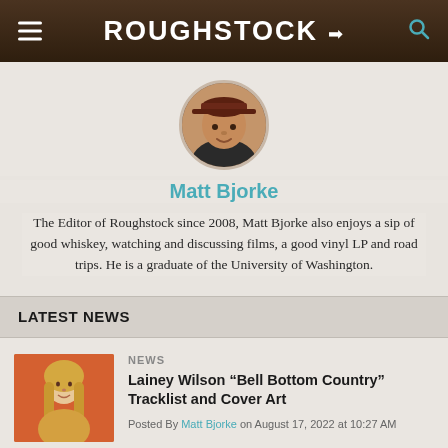ROUGHSTOCK
[Figure (photo): Circular avatar photo of Matt Bjorke, a man wearing a cap]
Matt Bjorke
The Editor of Roughstock since 2008, Matt Bjorke also enjoys a sip of good whiskey, watching and discussing films, a good vinyl LP and road trips. He is a graduate of the University of Washington.
LATEST NEWS
[Figure (photo): Thumbnail photo of Lainey Wilson, a woman with long blonde hair]
NEWS
Lainey Wilson “Bell Bottom Country” Tracklist and Cover Art
Posted By Matt Bjorke on August 17, 2022 at 10:27 AM